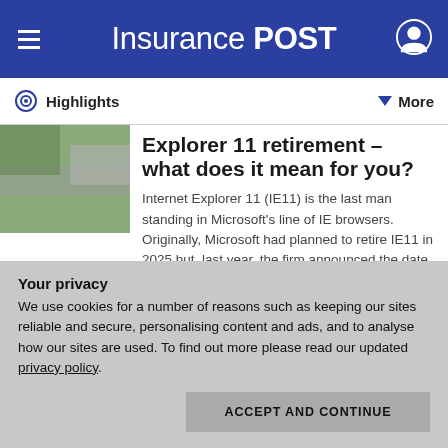Insurance POST
Highlights
Explorer 11 retirement – what does it mean for you?
Internet Explorer 11 (IE11) is the last man standing in Microsoft's line of IE browsers. Originally, Microsoft had planned to retire IE11 in 2025 but, last year, the firm announced the date had been brought forward to 2022 - 15 June, to be precise, which…
Your privacy
We use cookies for a number of reasons such as keeping our sites reliable and secure, personalising content and ads, and to analyse how our sites are used. To find out more please read our updated privacy policy.
ACCEPT AND CONTINUE